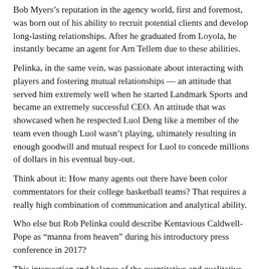Bob Myers’s reputation in the agency world, first and foremost, was born out of his ability to recruit potential clients and develop long-lasting relationships. After he graduated from Loyola, he instantly became an agent for Arn Tellem due to these abilities.
Pelinka, in the same vein, was passionate about interacting with players and fostering mutual relationships — an attitude that served him extremely well when he started Landmark Sports and became an extremely successful CEO. An attitude that was showcased when he respected Luol Deng like a member of the team even though Luol wasn’t playing, ultimately resulting in enough goodwill and mutual respect for Luol to concede millions of dollars in his eventual buy-out.
Think about it: How many agents out there have been color commentators for their college basketball teams? That requires a really high combination of communication and analytical ability.
Who else but Rob Pelinka could describe Kentavious Caldwell-Pope as “manna from heaven” during his introductory press conference in 2017?
This intersection and balance of the quantitative and qualitative spheres is the foundation for their success as GM’s. Arn Tellem (I